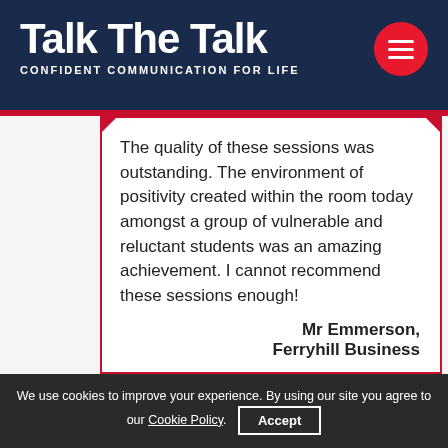Talk The Talk — CONFIDENT COMMUNICATION FOR LIFE
The quality of these sessions was outstanding. The environment of positivity created within the room today amongst a group of vulnerable and reluctant students was an amazing achievement. I cannot recommend these sessions enough!
Mr Emmerson, Ferryhill Business
We use cookies to improve your experience. By using our site you agree to our Cookie Policy. Accept